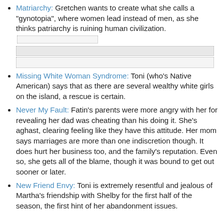Matriarchy: Gretchen wants to create what she calls a "gynotopia", where women lead instead of men, as she thinks patriarchy is ruining human civilization. [redacted]
Missing White Woman Syndrome: Toni (who's Native American) says that as there are several wealthy white girls on the island, a rescue is certain.
Never My Fault: Fatin's parents were more angry with her for revealing her dad was cheating than his doing it. She's aghast, clearing feeling like they have this attitude. Her mom says marriages are more than one indiscretion though. It does hurt her business too, and the family's reputation. Even so, she gets all of the blame, though it was bound to get out sooner or later.
New Friend Envy: Toni is extremely resentful and jealous of Martha's friendship with Shelby for the first half of the season, the first hint of her abandonment issues.